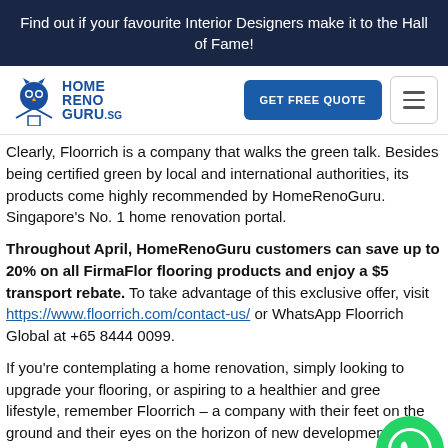Find out if your favourite Interior Designers make it to the Hall of Fame!
[Figure (logo): HomeRenoGuru.sg logo with owl icon and GET FREE QUOTE button and hamburger menu]
Clearly, Floorrich is a company that walks the green talk. Besides being certified green by local and international authorities, its products come highly recommended by HomeRenoGuru. Singapore's No. 1 home renovation portal.
Throughout April, HomeRenoGuru customers can save up to 20% on all FirmaFlor flooring products and enjoy a $5 transport rebate. To take advantage of this exclusive offer, visit https://www.floorrich.com/contact-us/ or WhatsApp Floorrich Global at +65 8444 0099.
If you're contemplating a home renovation, simply looking to upgrade your flooring, or aspiring to a healthier and greener lifestyle, remember Floorrich – a company with their feet on the ground and their eyes on the horizon of new developments in flooring technology and sustainable living.
[Figure (logo): WhatsApp green circle icon floating at bottom right]